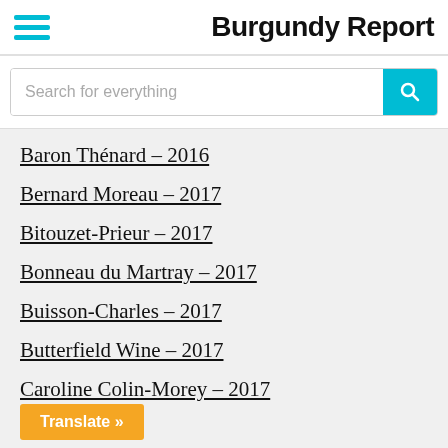Burgundy Report
Search for everything
Baron Thénard – 2016
Bernard Moreau – 2017
Bitouzet-Prieur – 2017
Bonneau du Martray – 2017
Buisson-Charles – 2017
Butterfield Wine – 2017
Caroline Colin-Morey – 2017
Translate »